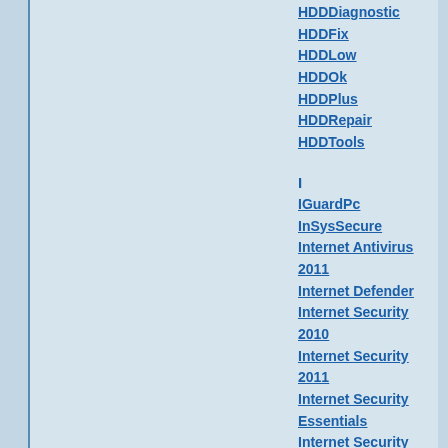HDDDiagnostic
HDDFix
HDDLow
HDDOk
HDDPlus
HDDRepair
HDDTools
I
IGuardPc
InSysSecure
Internet Antivirus 2011
Internet Defender
Internet Security 2010
Internet Security 2011
Internet Security Essentials
Internet Security Suite
IronDefense
IronDefender
IronProtector
K
KeepCop
L